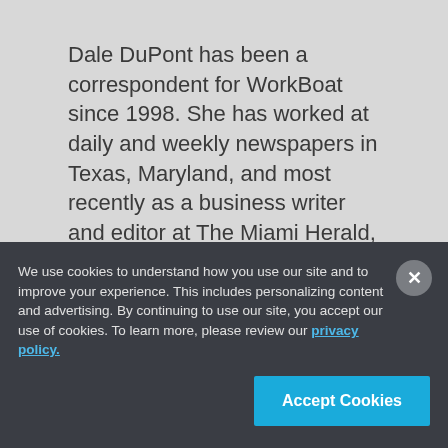Dale DuPont has been a correspondent for WorkBoat since 1998. She has worked at daily and weekly newspapers in Texas, Maryland, and most recently as a business writer and editor at The Miami Herald, covering the cruise, marine and other industries. She and her husband once owned a
We use cookies to understand how you use our site and to improve your experience. This includes personalizing content and advertising. By continuing to use our site, you accept our use of cookies. To learn more, please review our privacy policy.